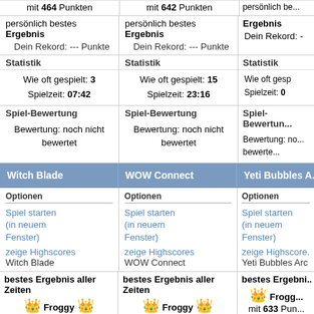mit 464 Punkten
mit 642 Punkten
persönlich bestes Ergebnis
persönlich bestes Ergebnis
Dein Rekord: --- Punkte
persönlich bestes Ergebnis
Dein Rekord: --- Punkte
Dein Rekord: ---
Statistik
Wie oft gespielt: 3
Spielzeit: 07:42
Statistik
Wie oft gespielt: 15
Spielzeit: 23:16
Wie oft gespielt:
Spielzeit: 0
Spiel-Bewertung
Bewertung: noch nicht bewertet
Spiel-Bewertung
Bewertung: noch nicht bewertet
Bewertung: noch nicht bewertet
Witch Blade
WOW Connect
Yeti Bubbles A...
Optionen
Spiel starten (in neuem Fenster)
zeige Highscores Witch Blade
Optionen
Spiel starten (in neuem Fenster)
zeige Highscores WOW Connect
Optionen
Spiel starten (in neuem Fenster)
zeige Highscores Yeti Bubbles Arc
bestes Ergebnis aller Zeiten
🏅 Froggy 🏅
mit 1320 Punkten
bestes Ergebnis aller Zeiten
🏅 Froggy 🏅
mit 2350 Punkten
bestes Ergebnis aller Zeiten
🏅 Froggy
mit 633 Pun
aktueller Highscore-Champion
🏆 Froggy 🏆
mit 1320 Punkten
aktueller Highscore-Champion
🏆 Froggy 🏆
mit 2350 Punkten
aktueller Highscore-Champion
🏆 Froggy
mit 633 Pu